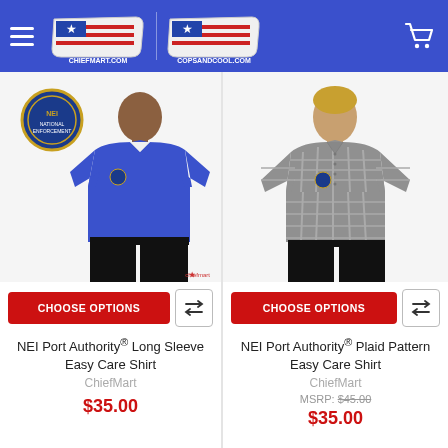ChiefMart / CopsAndCool.com store header with navigation
[Figure (photo): Man wearing blue NEI Port Authority long sleeve easy care shirt with badge logo]
[Figure (photo): Man wearing gray plaid NEI Port Authority easy care shirt with badge logo]
CHOOSE OPTIONS
CHOOSE OPTIONS
NEI Port Authority® Long Sleeve Easy Care Shirt
ChiefMart
$35.00
NEI Port Authority® Plaid Pattern Easy Care Shirt
ChiefMart
MSRP: $45.00
$35.00